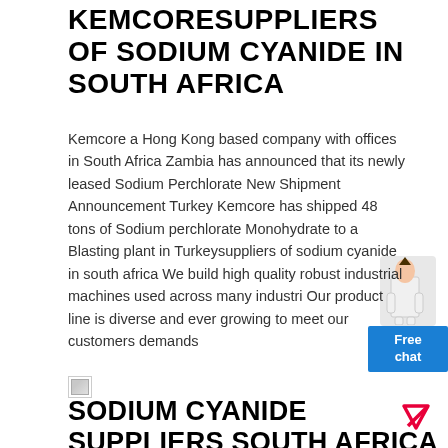KEMCORESUPPLIERS OF SODIUM CYANIDE IN SOUTH AFRICA
Kemcore a Hong Kong based company with offices in South Africa Zambia has announced that its newly leased Sodium Perchlorate New Shipment Announcement Turkey Kemcore has shipped 48 tons of Sodium perchlorate Monohydrate to a Blasting plant in Turkeysuppliers of sodium cyanide in south africa We build high quality robust industrial machines used across many industri Our product line is diverse and ever growing to meet our customers demands
LIVE CHAT
[Figure (other): Broken image placeholder icon]
SODIUM CYANIDE SUPPLIERS SOUTH AFRICA UNIQUESTEELCOZASODIUM